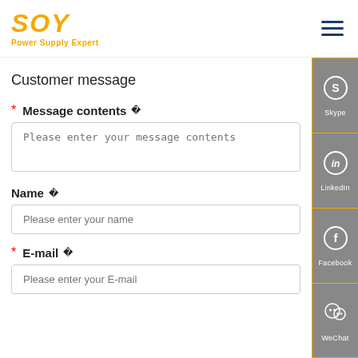[Figure (logo): SOY Power Supply Expert logo in orange/gold italic font]
Customer message
* Message contents 
Please enter your message contents
Name 
Please enter your name
* E-mail 
Please enter your E-mail